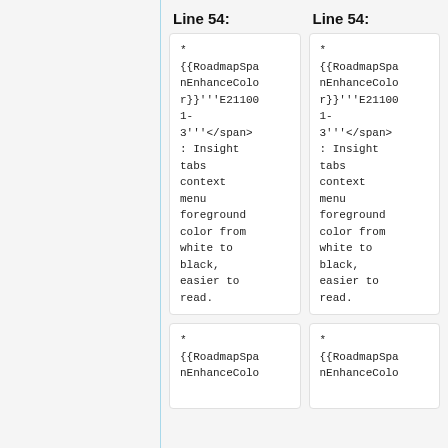Line 54:
Line 54:
* {{RoadmapSpanEnhanceColor}}'''E211001-3'''</span>: Insight tabs context menu foreground color from white to black, easier to read.
* {{RoadmapSpanEnhanceColor}}'''E211001-3'''</span>: Insight tabs context menu foreground color from white to black, easier to read.
* {{RoadmapSpanEnhanceColo
* {{RoadmapSpanEnhanceColo